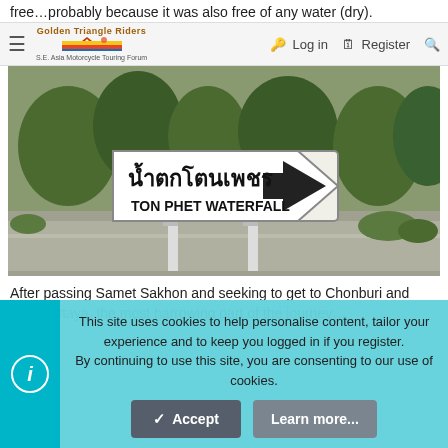free…probably because it was also free of any water (dry).
Golden Triangle Riders — S.E. Asia Motorcycle Touring Forum | Log in | Register
[Figure (photo): Road sign for Ton Phet Waterfall (น้ำตกโตนเพชร) in Thai and English, mounted on white poles by a road with trees in background.]
After passing Samet Sakhon and seeking to get to Chonburi and onto Pattaya, the most harrowing part of the journey…
This site uses cookies to help personalise content, tailor your experience and to keep you logged in if you register. By continuing to use this site, you are consenting to our use of cookies.